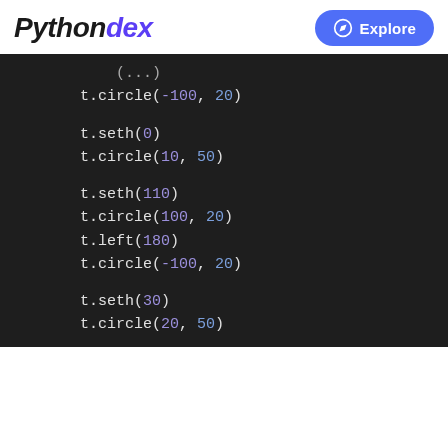Pythondex  Explore
t.circle(-100, 20)

t.seth(0)
t.circle(10, 50)

t.seth(110)
t.circle(100, 20)
t.left(180)
t.circle(-100, 20)

t.seth(30)
t.circle(20, 50)